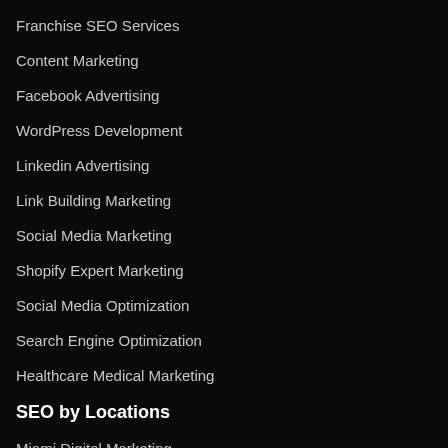Franchise SEO Services
Content Marketing
Facebook Advertising
WordPress Development
Linkedin Advertising
Link Building Marketing
Social Media Marketing
Shopify Expert Marketing
Social Media Optimization
Search Engine Optimization
Healthcare Medical Marketing
SEO by Locations
Miami Digital Marketing
Tampa Digital Marketing